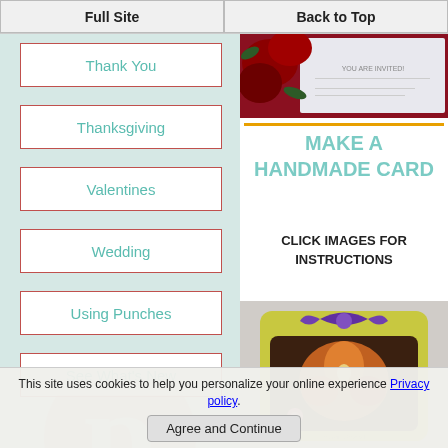Full Site | Back to Top
Thank You
Thanksgiving
Valentines
Wedding
Using Punches
See What's New
[Figure (photo): A handmade card with red roses and 'YOU ARE INVITED!' text on a white background]
MAKE A HANDMADE CARD
CLICK IMAGES FOR INSTRUCTIONS
[Figure (logo): Pinterest logo watermark in light pink]
[Figure (photo): A yellow handmade card decorated with purple bow and colorful floral design on white fabric]
This site uses cookies to help you personalize your online experience Privacy policy.
Agree and Continue